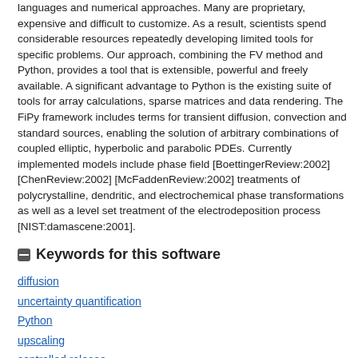languages and numerical approaches. Many are proprietary, expensive and difficult to customize. As a result, scientists spend considerable resources repeatedly developing limited tools for specific problems. Our approach, combining the FV method and Python, provides a tool that is extensible, powerful and freely available. A significant advantage to Python is the existing suite of tools for array calculations, sparse matrices and data rendering. The FiPy framework includes terms for transient diffusion, convection and standard sources, enabling the solution of arbitrary combinations of coupled elliptic, hyperbolic and parabolic PDEs. Currently implemented models include phase field [BoettingerReview:2002] [ChenReview:2002] [McFaddenReview:2002] treatments of polycrystalline, dendritic, and electrochemical phase transformations as well as a level set treatment of the electrodeposition process [NIST:damascene:2001].
Keywords for this software
diffusion
uncertainty quantification
Python
upscaling
controlled release
traffic modeling